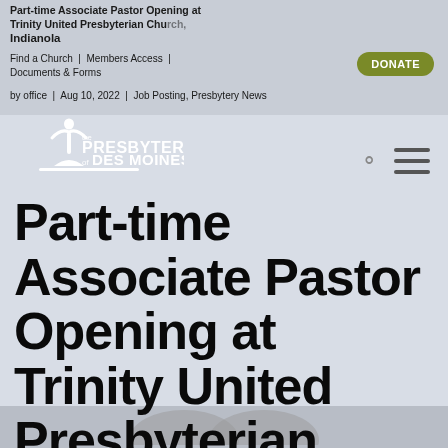Part-time Associate Pastor Opening at Trinity United Presbyterian Church, Indianola
Find a Church | Members Access | Documents & Forms
DONATE
by office | Aug 10, 2022 | Job Posting, Presbytery News
[Figure (logo): The Presbytery of Des Moines logo with stylized tree and book figure in white]
Part-time Associate Pastor Opening at Trinity United Presbyterian Church, Indianola